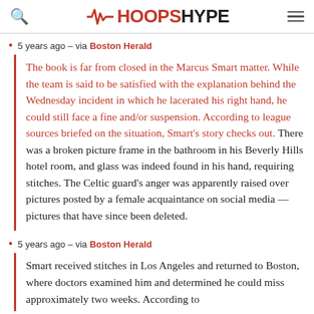HOOPSHYPE
5 years ago – via Boston Herald
The book is far from closed in the Marcus Smart matter. While the team is said to be satisfied with the explanation behind the Wednesday incident in which he lacerated his right hand, he could still face a fine and/or suspension. According to league sources briefed on the situation, Smart's story checks out. There was a broken picture frame in the bathroom in his Beverly Hills hotel room, and glass was indeed found in his hand, requiring stitches. The Celtic guard's anger was apparently raised over pictures posted by a female acquaintance on social media — pictures that have since been deleted.
5 years ago – via Boston Herald
Smart received stitches in Los Angeles and returned to Boston, where doctors examined him and determined he could miss approximately two weeks. According to